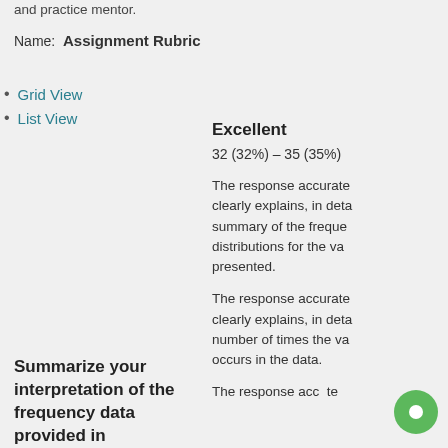and practice mentor.
Name:  Assignment Rubric
Grid View
List View
Excellent
32 (32%) – 35 (35%)
The response accurately and clearly explains, in detail, a summary of the frequency distributions for the variables presented.
The response accurately and clearly explains, in detail, the number of times the value occurs in the data.
Summarize your interpretation of the frequency data provided in